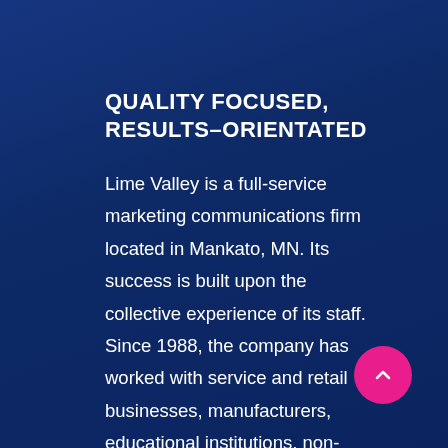QUALITY FOCUSED, RESULTS–ORIENTATED
Lime Valley is a full-service marketing communications firm located in Mankato, MN. Its success is built upon the collective experience of its staff. Since 1988, the company has worked with service and retail businesses, manufacturers, educational institutions, non-profits, and
[Figure (illustration): Pink circular button with an upward-pointing chevron/caret arrow icon]